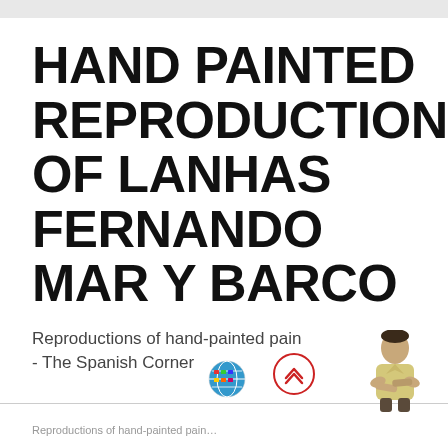HAND PAINTED REPRODUCTION OF LANHAS FERNANDO MAR Y BARCO
Reproductions of hand-painted pain - The Spanish Corner
[Figure (illustration): Globe icon with colorful flags]
[Figure (illustration): Red circle with double upward chevron arrows]
[Figure (illustration): Illustrated person in yellow shirt with arms crossed]